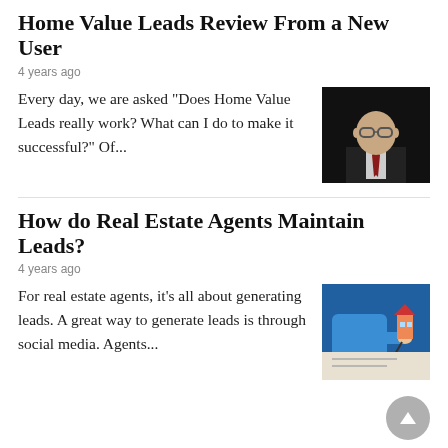Home Value Leads Review From a New User
4 years ago
Every day, we are asked “Does Home Value Leads really work? What can I do to make it successful?” Of...
[Figure (photo): Professional headshot of a man in a suit and tie against a dark background]
How do Real Estate Agents Maintain Leads?
4 years ago
For real estate agents, it’s all about generating leads. A great way to generate leads is through social media. Agents...
[Figure (photo): Person in blue shirt writing on documents while holding a small house model]